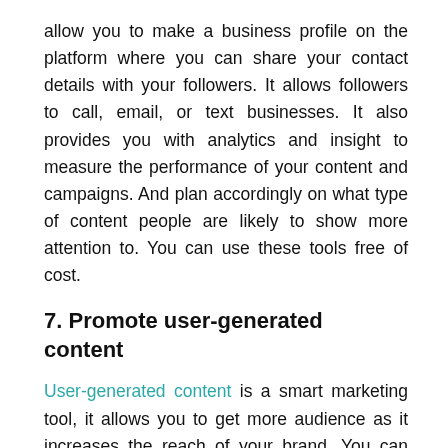allow you to make a business profile on the platform where you can share your contact details with your followers. It allows followers to call, email, or text businesses. It also provides you with analytics and insight to measure the performance of your content and campaigns. And plan accordingly on what type of content people are likely to show more attention to. You can use these tools free of cost.
7. Promote user-generated content
User-generated content is a smart marketing tool, it allows you to get more audience as it increases the reach of your brand. You can promote UGC and motivate people by reposting their content on your account. It helps you to maintain a good relationship with your followers and hence building a strong brand.